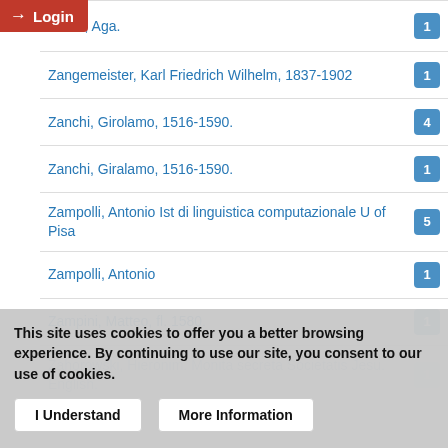Zarun, Aga.
Zangemeister, Karl Friedrich Wilhelm, 1837-1902
Zanchi, Girolamo, 1516-1590.
Zanchi, Giralamo, 1516-1590.
Zampolli, Antonio Ist di linguistica computazionale U of Pisa
Zampolli, Antonio
Zampini, Matteo, fl. 1580.
Zahorowski, Hieronim. Monita secreta Societatis Jesu. English.
This site uses cookies to offer you a better browsing experience. By continuing to use our site, you consent to our use of cookies.